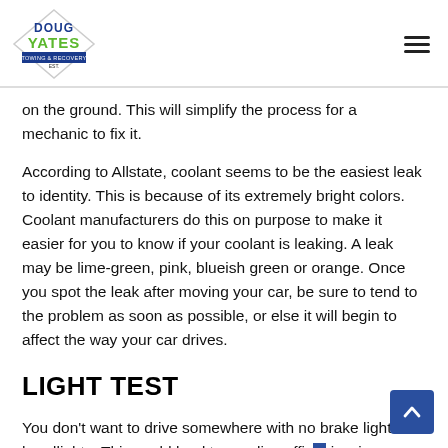Doug Yates Towing & Recovery logo, navigation menu
on the ground. This will simplify the process for a mechanic to fix it.
According to Allstate, coolant seems to be the easiest leak to identity. This is because of its extremely bright colors. Coolant manufacturers do this on purpose to make it easier for you to know if your coolant is leaking. A leak may be lime-green, pink, blueish green or orange. Once you spot the leak after moving your car, be sure to tend to the problem as soon as possible, or else it will begin to affect the way your car drives.
LIGHT TEST
You don't want to drive somewhere with no brake lights or headlights. This could lead to a police officer issuing you a ticket, or worst-case scenario, getting into a car accident. This can be easily preventable by testing